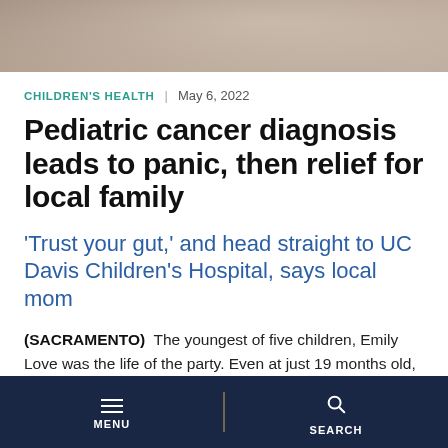[Figure (photo): Partial photo of a person wearing a white garment with teal/blue floral pattern, top portion cropped]
CHILDREN'S HEALTH | May 6, 2022
Pediatric cancer diagnosis leads to panic, then relief for local family
'Trust your gut,' and head straight to UC Davis Children's Hospital, says local mom
(SACRAMENTO) The youngest of five children, Emily Love was the life of the party. Even at just 19 months old, she could fill a room with her joyful
MENU | SEARCH